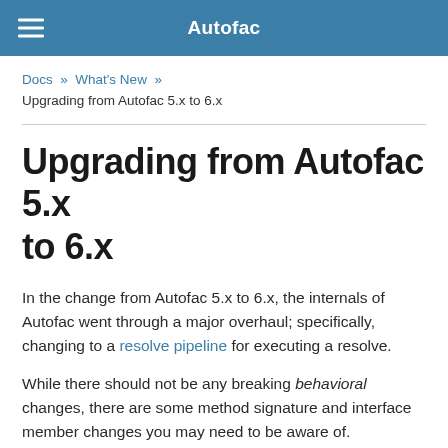Autofac
Docs » What's New » Upgrading from Autofac 5.x to 6.x
Upgrading from Autofac 5.x to 6.x
In the change from Autofac 5.x to 6.x, the internals of Autofac went through a major overhaul; specifically, changing to a resolve pipeline for executing a resolve.
While there should not be any breaking behavioral changes, there are some method signature and interface member changes you may need to be aware of.